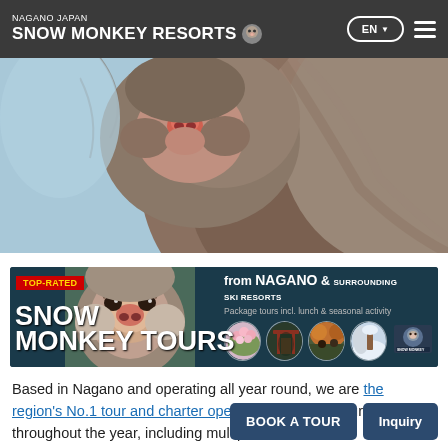NAGANO JAPAN SNOW MONKEY RESORTS
[Figure (photo): Close-up photo of a Japanese snow monkey (macaque) face and fur, light blue sky background]
[Figure (infographic): Advertisement banner for Snow Monkey Tours. Top-rated badge in red/yellow. Text: 'SNOW MONKEY TOURS' in large white letters. Right side: 'from NAGANO & SURROUNDING SKI RESORTS. Package tours incl. lunch & seasonal activity'. Four circular seasonal photos. Snow Monkey Resorts logo.]
Based in Nagano and operating all year round, we are the region's No.1 tour and charter operator. Our group tours run throughout the year, including multiple tours to